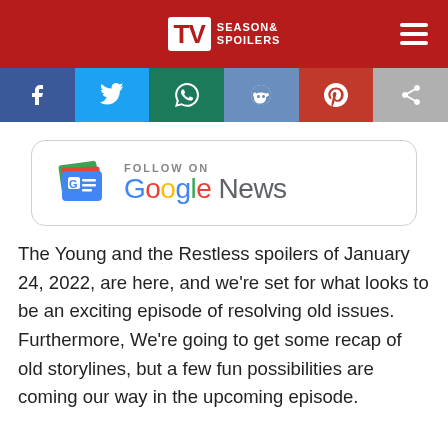TV Seasons & Spoilers
[Figure (infographic): Social media share buttons: Facebook, Twitter, WhatsApp, Reddit, Pinterest, Share]
[Figure (infographic): Follow on Google News banner with Google News icon]
The Young and the Restless spoilers of January 24, 2022, are here, and we're set for what looks to be an exciting episode of resolving old issues. Furthermore, We're going to get some recap of old storylines, but a few fun possibilities are coming our way in the upcoming episode.